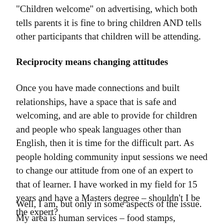“Children welcome” on advertising, which both tells parents it is fine to bring children AND tells other participants that children will be attending.
Reciprocity means changing attitudes
Once you have made connections and built relationships, have a space that is safe and welcoming, and are able to provide for children and people who speak languages other than English, then it is time for the difficult part. As people holding community input sessions we need to change our attitude from one of an expert to that of learner. I have worked in my field for 15 years and have a Masters degree – shouldn’t I be the expert?
Well, I am, but only in some aspects of the issue. My area is human services – food stamps, welfare,